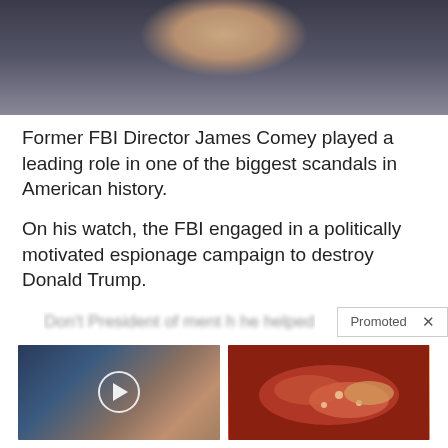[Figure (photo): Cropped photo of a man in a dark suit and white shirt, appears to be James Comey at a hearing]
Former FBI Director James Comey played a leading role in one of the biggest scandals in American history.
On his watch, the FBI engaged in a politically motivated espionage campaign to destroy Donald Trump.
Promoted X (promoted content bar)
[Figure (photo): Ad image: hands with play button overlay - 4 Worst Blood Pressure Drugs (Avoid At All Costs)]
4 Worst Blood Pressure Drugs (Avoid At All Costs)
5,252
[Figure (photo): Ad image: medical/organ image for Metformin article]
Why Doctors In The Know No Longer Prescribe Metformin
105,705